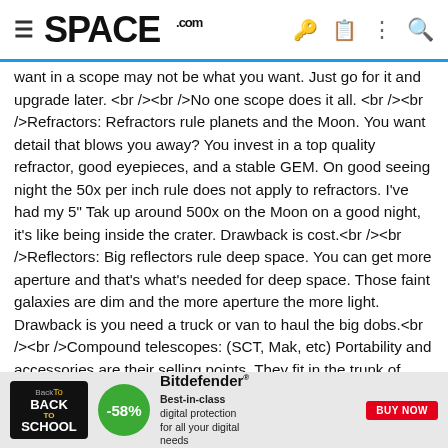SPACE.com
want in a scope may not be what you want. Just go for it and upgrade later. No one scope does it all. Refractors: Refractors rule planets and the Moon. You want detail that blows you away? You invest in a top quality refractor, good eyepieces, and a stable GEM. On good seeing night the 50x per inch rule does not apply to refractors. I've had my 5" Tak up around 500x on the Moon on a good night, it's like being inside the crater. Drawback is cost. Reflectors: Big reflectors rule deep space. You can get more aperture and that's what's needed for deep space. Those faint galaxies are dim and the more aperture the more light. Drawback is you need a truck or van to haul the big dobs. Compound telescopes: (SCT, Mak, etc) Portability and accessories are their selling points. They fit in the trunk of your car. Most astrophotography is being done with compound scopes. Drawback is they are just OK scopes, you are not going to blow anyones socks off. Computers: I like them, some don't. Some like DSCs, some don't. I've have and use both. I've used my 8" LX90 and computer to put a Telrad on the sky so we could pick up objects with
[Figure (other): Advertisement banner: Back to School, -58% discount, Best-in-class digital protection for all your digital needs, Bitdefender Buy Now button]